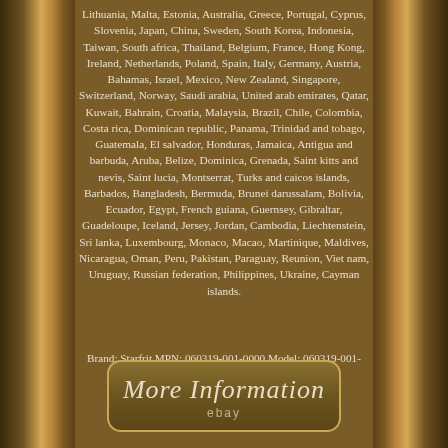Lithuania, Malta, Estonia, Australia, Greece, Portugal, Cyprus, Slovenia, Japan, China, Sweden, South Korea, Indonesia, Taiwan, South africa, Thailand, Belgium, France, Hong Kong, Ireland, Netherlands, Poland, Spain, Italy, Germany, Austria, Bahamas, Israel, Mexico, New Zealand, Singapore, Switzerland, Norway, Saudi arabia, United arab emirates, Qatar, Kuwait, Bahrain, Croatia, Malaysia, Brazil, Chile, Colombia, Costa rica, Dominican republic, Panama, Trinidad and tobago, Guatemala, El salvador, Honduras, Jamaica, Antigua and barbuda, Aruba, Belize, Dominica, Grenada, Saint kitts and nevis, Saint lucia, Montserrat, Turks and caicos islands, Barbados, Bangladesh, Bermuda, Brunei darussalam, Bolivia, Ecuador, Egypt, French guiana, Guernsey, Gibraltar, Guadeloupe, Iceland, Jersey, Jordan, Cambodia, Liechtenstein, Sri lanka, Luxembourg, Monaco, Macao, Martinique, Maldives, Nicaragua, Oman, Peru, Pakistan, Paraguay, Reunion, Viet nam, Uruguay, Russian federation, Philippines, Ukraine, Cayman islands.
Brand: Starfrit MPN: 060319-001-0000 Model: 060319-001-0000 UPC: 0069858603191 EAN: Does not apply
[Figure (other): A rounded rectangle button with dark brown gradient background and gold border, containing italic cursive text 'More Information' and 'ebay' below it in smaller text.]